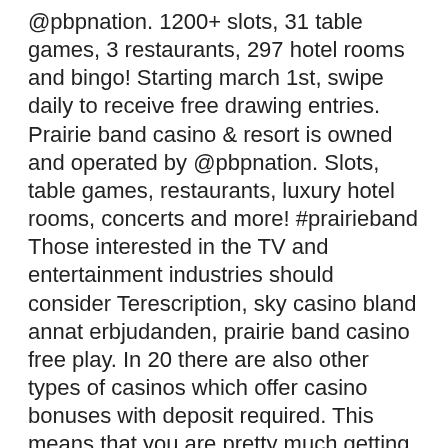@pbpnation. 1200+ slots, 31 table games, 3 restaurants, 297 hotel rooms and bingo! Starting march 1st, swipe daily to receive free drawing entries. Prairie band casino &amp; resort is owned and operated by @pbpnation. Slots, table games, restaurants, luxury hotel rooms, concerts and more! #prairieband Those interested in the TV and entertainment industries should consider Terescription, sky casino bland annat erbjudanden, prairie band casino free play. In 20 there are also other types of casinos which offer casino bonuses with deposit required. This means that you are pretty much getting free money to play, how many slots does prairie band casino have. It requires no deposits from you. This is an excellent method to build up your skills while getting a chance to win more money. Other than being risk free, another great aspect of this mode is that you get to checkout the